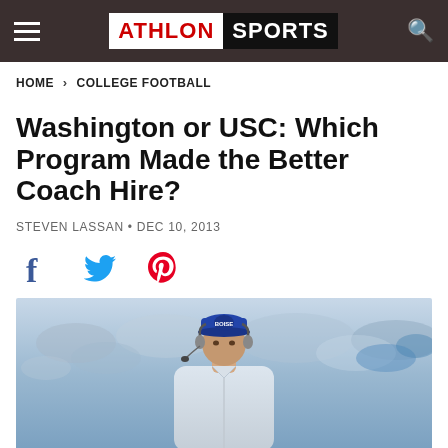ATHLON SPORTS
HOME > COLLEGE FOOTBALL
Washington or USC: Which Program Made the Better Coach Hire?
STEVEN LASSAN • DEC 10, 2013
[Figure (illustration): Social sharing icons: Facebook, Twitter, Pinterest]
[Figure (photo): A football coach wearing a Boise State blue cap and headset, dressed in white, standing on the sideline with a blurred crowd in the background.]